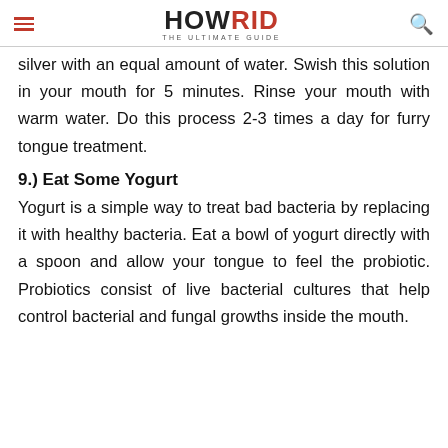HOWRID THE ULTIMATE GUIDE
silver with an equal amount of water. Swish this solution in your mouth for 5 minutes. Rinse your mouth with warm water. Do this process 2-3 times a day for furry tongue treatment.
9.) Eat Some Yogurt
Yogurt is a simple way to treat bad bacteria by replacing it with healthy bacteria. Eat a bowl of yogurt directly with a spoon and allow your tongue to feel the probiotic. Probiotics consist of live bacterial cultures that help control bacterial and fungal growths inside the mouth.